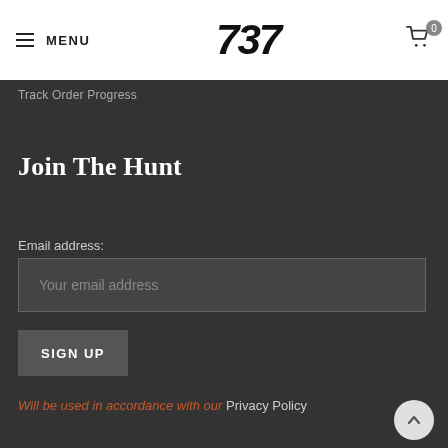MENU  737  0
Track Order Progress
Join The Hunt
Email address:
Your email address
SIGN UP
Will be used in accordance with our Privacy Policy